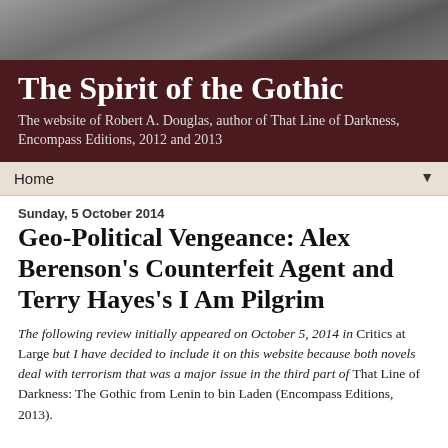[Figure (photo): Grayscale header image with dark shadowy figures, used as decorative banner for the website]
The Spirit of the Gothic
The website of Robert A. Douglas, author of That Line of Darkness, Encompass Editions, 2012 and 2013
Home ▼
Sunday, 5 October 2014
Geo-Political Vengeance: Alex Berenson's Counterfeit Agent and Terry Hayes's I Am Pilgrim
The following review initially appeared on October 5, 2014 in Critics at Large but I have decided to include it on this website because both novels deal with terrorism that was a major issue in the third part of That Line of Darkness: The Gothic from Lenin to bin Laden (Encompass Editions, 2013).